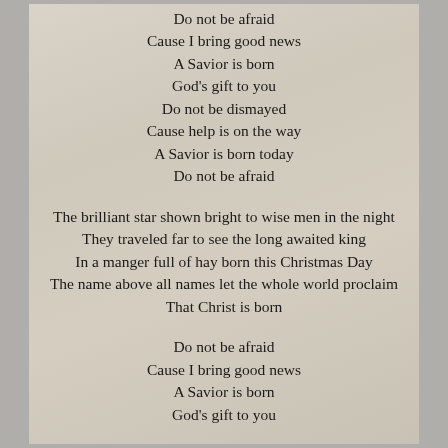Do not be afraid
Cause I bring good news
A Savior is born
God's gift to you
Do not be dismayed
Cause help is on the way
A Savior is born today
Do not be afraid
The brilliant star shown bright to wise men in the night
They traveled far to see the long awaited king
In a manger full of hay born this Christmas Day
The name above all names let the whole world proclaim
That Christ is born
Do not be afraid
Cause I bring good news
A Savior is born
God's gift to you